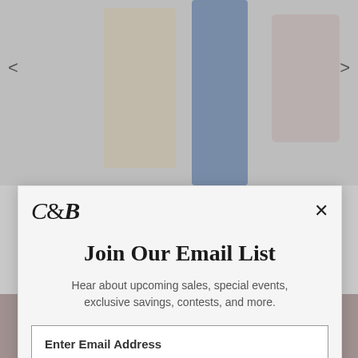[Figure (screenshot): Background showing fashion product images (jewelry, jeans, handbag) on a gray carousel background with left/right navigation arrows]
[Figure (logo): C&B brand logo in serif font]
Join Our Email List
Hear about upcoming sales, special events, exclusive savings, contests, and more.
Enter Email Address
SIGN UP FOR EMAILS
Privacy Policy